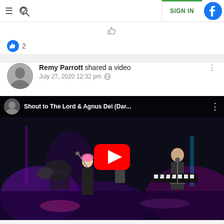Navigation bar with hamburger menu, search icon, SIGN IN button, and Facebook icon
[Figure (illustration): Thumbs up / like icon (outline style) centered in a row]
2 (like count with filled blue thumbs-up icon)
Remy Parrott shared a video — July 27, 2020 12:32 pm
[Figure (screenshot): YouTube video thumbnail showing a live concert performance with the title 'Shout to The Lord & Agnus Dei (Dar...' and a red play button overlay. Performers on stage with instruments including guitar and keyboard.]